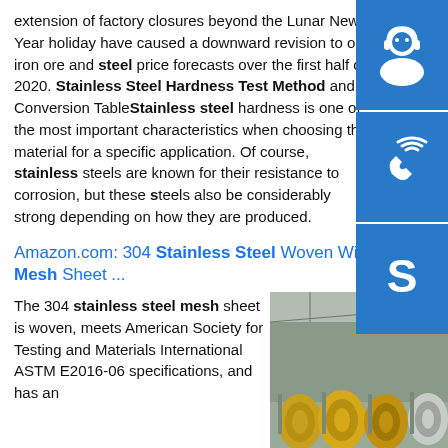extension of factory closures beyond the Lunar New Year holiday have caused a downward revision to our iron ore and steel price forecasts over the first half of 2020. Stainless Steel Hardness Test Method and Conversion TableStainless steel hardness is one of the most important characteristics when choosing the material for a specific application. Of course, stainless steels are known for their resistance to corrosion, but these steels also be considerably strong depending on how they are produced.
Amazon.com: 304 Stainless Steel Woven Wire Mesh Sheet ...
The 304 stainless steel mesh sheet is woven, meets American Society for Testing and Materials International ASTM E2016-06 specifications, and has an
[Figure (photo): Industrial warehouse interior with large rolls of stainless steel coils stored on the floor]
[Figure (infographic): Three blue icon buttons: headset/customer support icon, phone/call icon, Skype icon]